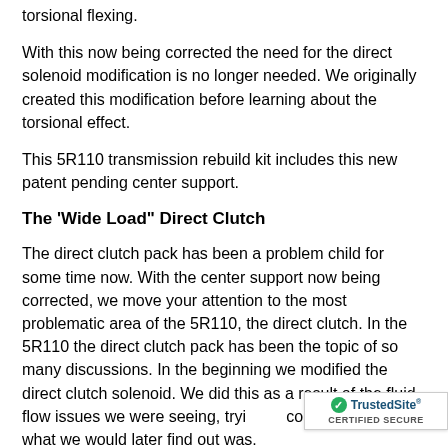torsional flexing.
With this now being corrected the need for the direct solenoid modification is no longer needed. We originally created this modification before learning about the torsional effect.
This 5R110 transmission rebuild kit includes this new patent pending center support.
The 'Wide Load" Direct Clutch
The direct clutch pack has been a problem child for some time now. With the center support now being corrected, we move your attention to the most problematic area of the 5R110, the direct clutch. In the 5R110 the direct clutch pack has been the topic of so many discussions. In the beginning we modified the direct clutch solenoid. We did this as a result of the fluid flow issues we were seeing, tryi compensate for what we would later find out was.